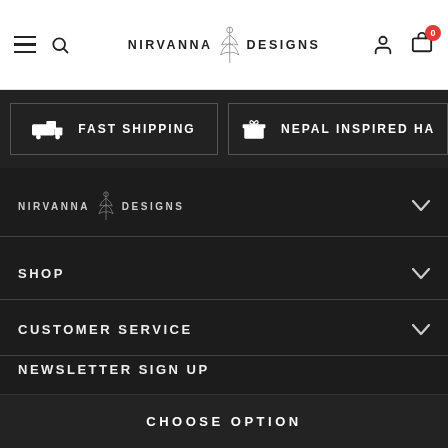NIRVANNA DESIGNS — navigation bar with hamburger, search, logo, account, cart (0)
[Figure (infographic): Dark feature banner with two items: FAST SHIPPING (truck icon) and NEPAL INSPIRED HA... (gift icon)]
[Figure (logo): Nirvanna Designs footer logo with plant illustration]
SHOP
CUSTOMER SERVICE
NEWSLETTER SIGN UP
Receive our latest updates about our products and promotions.
CHOOSE OPTION